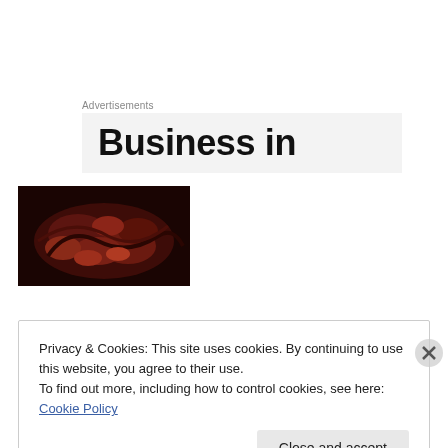Advertisements
[Figure (other): Advertisement banner with bold text 'Business in' on a light gray background]
[Figure (photo): Dark reddish food photo, appears to show meat or similar dish]
Privacy & Cookies: This site uses cookies. By continuing to use this website, you agree to their use.
To find out more, including how to control cookies, see here: Cookie Policy
Close and accept